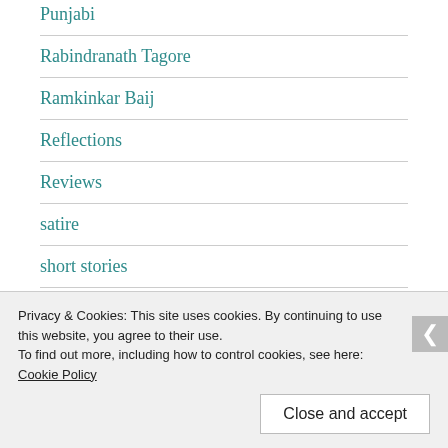Punjabi
Rabindranath Tagore
Ramkinkar Baij
Reflections
Reviews
satire
short stories
Submissions
Privacy & Cookies: This site uses cookies. By continuing to use this website, you agree to their use.
To find out more, including how to control cookies, see here: Cookie Policy
Close and accept